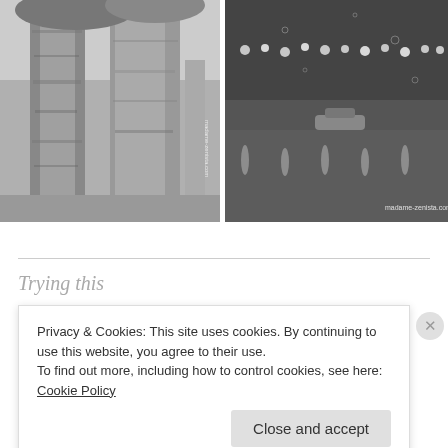[Figure (photo): Black and white photo of birch trees with textured bark, with 'madame-zenista.com' watermark, bottom left quadrant]
[Figure (photo): Black and white photo of rain on a window with city lights reflected on wet pavement, with 'madame-zenista.com' watermark, bottom right quadrant]
Trying this
Privacy & Cookies: This site uses cookies. By continuing to use this website, you agree to their use.
To find out more, including how to control cookies, see here: Cookie Policy
Close and accept